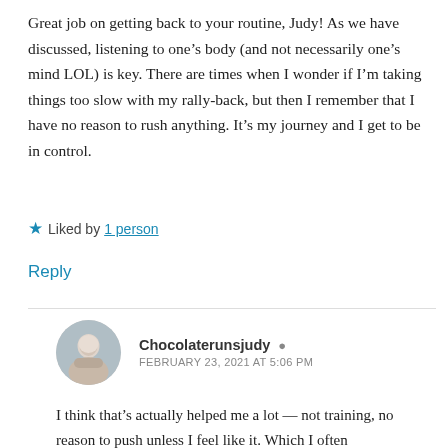Great job on getting back to your routine, Judy! As we have discussed, listening to one’s body (and not necessarily one’s mind LOL) is key. There are times when I wonder if I’m taking things too slow with my rally-back, but then I remember that I have no reason to rush anything. It’s my journey and I get to be in control.
★ Liked by 1 person
Reply
Chocolaterunsjudy • FEBRUARY 23, 2021 AT 5:06 PM
I think that’s actually helped me a lot — not training, no reason to push unless I feel like it. Which I often